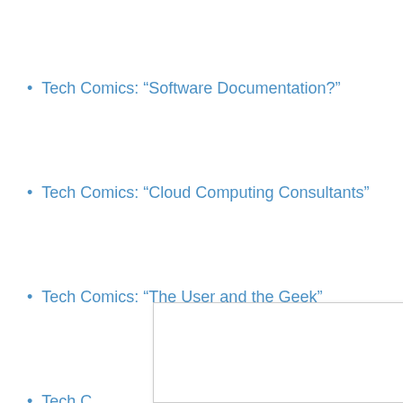Tech Comics: “Software Documentation?”
Tech Comics: “Cloud Computing Consultants”
Tech Comics: “The User and the Geek”
Tech C…